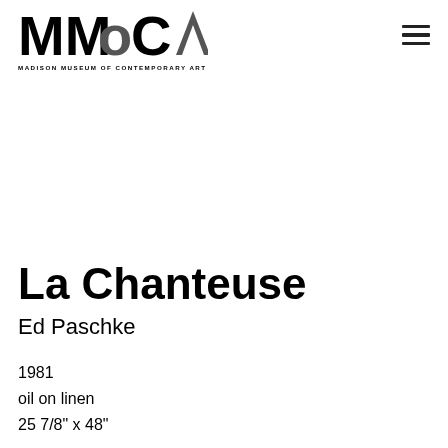MMoCA — Madison Museum of Contemporary Art
La Chanteuse
Ed Paschke
1981
oil on linen
25 7/8" x 48"